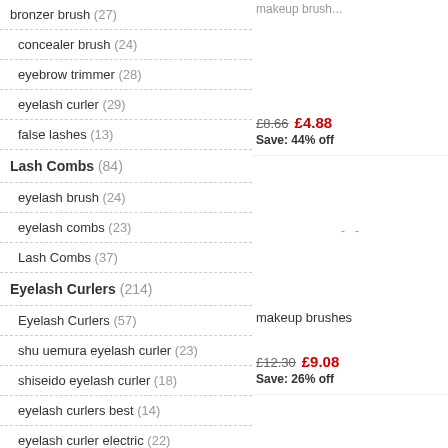bronzer brush (27)
concealer brush (24)
eyebrow trimmer (28)
eyelash curler (29)
false lashes (13)
Lash Combs (84)
eyelash brush (24)
eyelash combs (23)
Lash Combs (37)
Eyelash Curlers (214)
Eyelash Curlers (57)
shu uemura eyelash curler (23)
shiseido eyelash curler (18)
eyelash curlers best (14)
eyelash curler electric (22)
eyelash curler kevyn aucoin (14)
£8.66  £4.88  Save: 44% off
makeup brushes
£12.30  £9.08  Save: 26% off